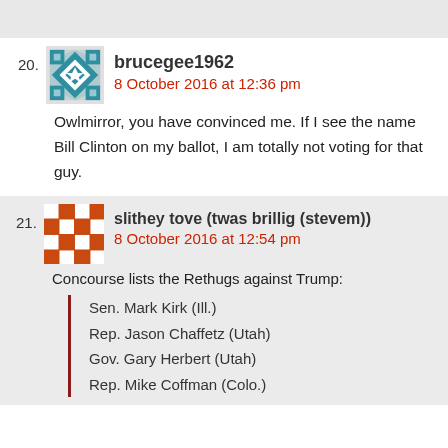20. brucegee1962 — 8 October 2016 at 12:36 pm
Owlmirror, you have convinced me. If I see the name Bill Clinton on my ballot, I am totally not voting for that guy.
21. slithey tove (twas brillig (stevem)) — 8 October 2016 at 12:54 pm
Concourse lists the Rethugs against Trump:
Sen. Mark Kirk (Ill.)
Rep. Jason Chaffetz (Utah)
Gov. Gary Herbert (Utah)
Rep. Mike Coffman (Colo.)